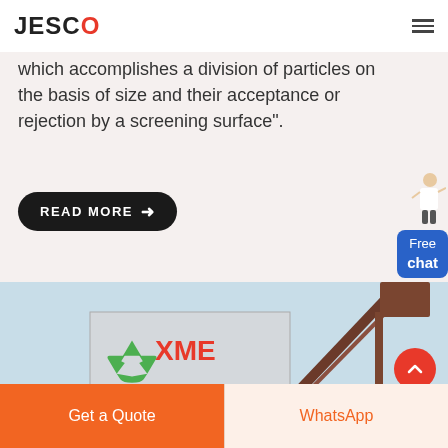JESCO
which accomplishes a division of particles on the basis of size and their acceptance or rejection by a screening surface".
READ MORE →
[Figure (photo): Industrial conveyor/screening machine with XME branding and recycling symbol visible]
Get a Quote
WhatsApp